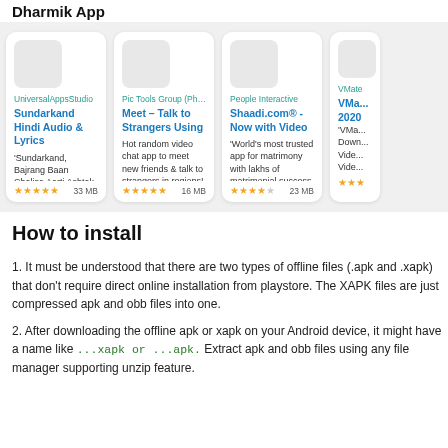Dharmik App
[Figure (screenshot): Row of app cards: Sundarkand Hindi Audio & Lyrics (UniversalAppsStudio, 4.5 stars, 33 MB), Meet – Talk to Strangers Using (Pic Tools Group, 4.5 stars, 16 MB), Shaadi.com® - Now with Video (People Interactive, 4 stars, 23 MB), VMate 2020 (partial, VMate)]
How to install
1. It must be understood that there are two types of offline files (.apk and .xapk) that don't require direct online installation from playstore. The XAPK files are just compressed apk and obb files into one.
2. After downloading the offline apk or xapk on your Android device, it might have a name like ...xapk or ...apk. Extract apk and obb files using any file manager supporting unzip feature.